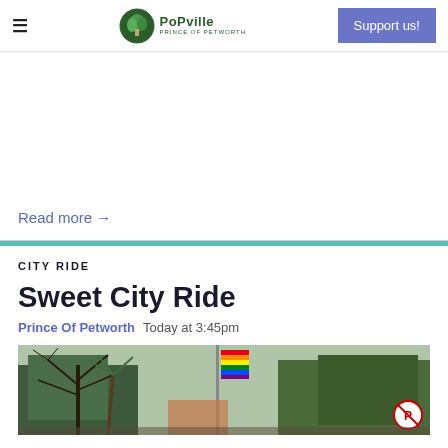≡  PoPville  Support us!
Read more →
CITY RIDE
Sweet City Ride
Prince Of Petworth  Today at 3:45pm
[Figure (photo): Street scene with trees and a rainbow pride flag on a pole, brick building in background, no parking sign visible]